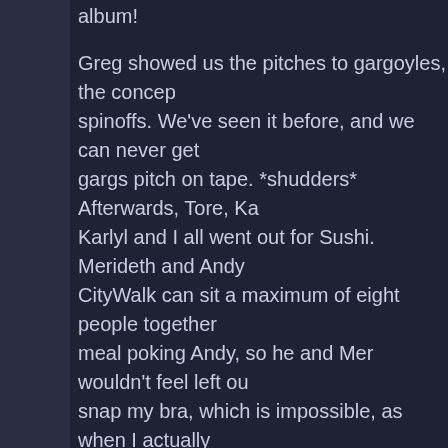album!
Greg showed us the pitches to gargoyles, the concept spinoffs. We've seen it before, and we can never get gargs pitch on tape. *shudders* Afterwards, Tore, Ka Karlyl and I all went out for Sushi. Merideth and Andy CityWalk can sit a maximum of eight people together meal poking Andy, so he and Mer wouldn't feel left ou snap my bra, which is impossible, as when I actually sports bra. *evil laugh* MUAHAHAHAHAHAHA! Gre would be in the radio play, and I had a part!
I don't remember what else we did that night, but bas weekend, we probably went back up to the room and
Saturday, June 23rd
Karine, Pat, Karlyl, Tore and I were running too late t decided to eat at the hotel restaurant. o.O The prices hash, two eggs, toast, hashbrowns and water, and m food wasn't even very good! Tore and I were running to pay for my meal. Later we would find out that the h menu prices for everything, and insisted they could n